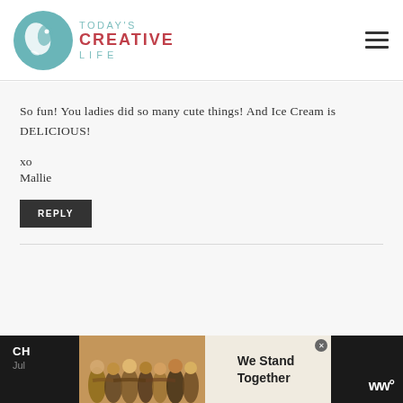[Figure (logo): Today's Creative Life logo with teal bird circle icon and text]
So fun! You ladies did so many cute things! And Ice Cream is DELICIOUS!
xo
Mallie
REPLY
[Figure (photo): Advertisement banner showing group of people from behind with text We Stand Together]